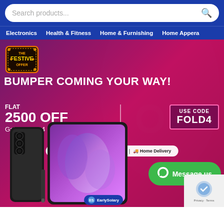Search products...
Electronics  Health & Fitness  Home & Furnishing  Home Appera
[Figure (infographic): Festive sale banner for Samsung Galaxy Fold 4. Shows 'THE FESTIVE OFFER' badge, headline 'BUMPER COMING YOUR WAY!', 'FLAT 2500 OFF Galaxy Fold 4', USE CODE FOLD4, No Cost EMI | ₹0 Down Payment | Home Delivery, Message us button, EarlySalary badge, Samsung Galaxy Fold 4 phone images.]